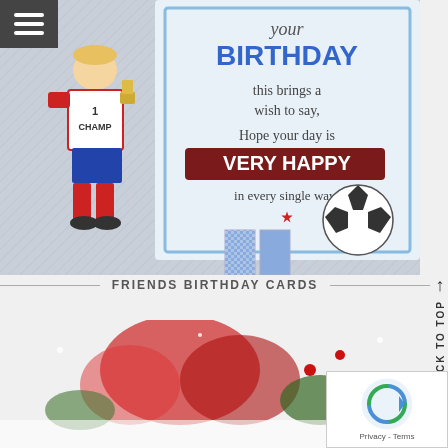[Figure (photo): Birthday card illustration showing a boy in a soccer/football uniform with '1 CHAMP' on the shirt, red socks, holding a trophy. A text panel reads 'your BIRTHDAY this brings a wish to say, Hope your day is VERY HAPPY in every single way!' with a soccer ball and ribbon medal decoration. Background has diagonal stripe pattern.]
FRIENDS BIRTHDAY CARDS
[Figure (photo): Partial view of a Christmas/holiday card showing red ribbons, bows, and pine/holly decorations on a white snowy background with red star accents.]